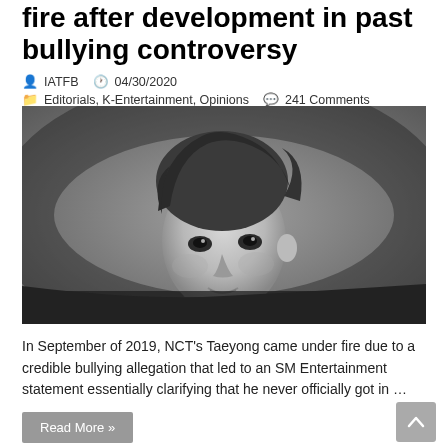fire after development in past bullying controversy
IATFB   04/30/2020   Editorials, K-Entertainment, Opinions   241 Comments
[Figure (photo): Black and white portrait photo of NCT's Taeyong looking over his shoulder with styled hair and dark clothing]
In September of 2019, NCT's Taeyong came under fire due to a credible bullying allegation that led to an SM Entertainment statement essentially clarifying that he never officially got in …
Read More »